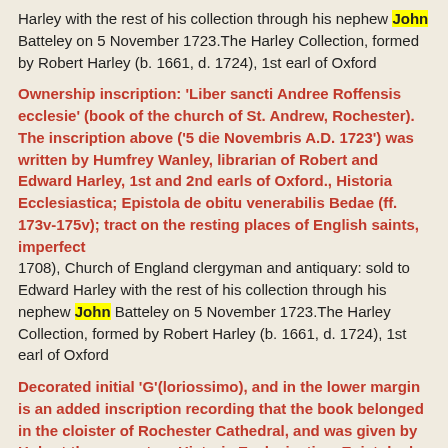Harley with the rest of his collection through his nephew John Batteley on 5 November 1723.The Harley Collection, formed by Robert Harley (b. 1661, d. 1724), 1st earl of Oxford
Ownership inscription: 'Liber sancti Andree Roffensis ecclesie' (book of the church of St. Andrew, Rochester). The inscription above ('5 die Novembris A.D. 1723') was written by Humfrey Wanley, librarian of Robert and Edward Harley, 1st and 2nd earls of Oxford., Historia Ecclesiastica; Epistola de obitu venerabilis Bedae (ff. 173v-175v); tract on the resting places of English saints, imperfect 1708), Church of England clergyman and antiquary: sold to Edward Harley with the rest of his collection through his nephew John Batteley on 5 November 1723.The Harley Collection, formed by Robert Harley (b. 1661, d. 1724), 1st earl of Oxford
Decorated initial 'G'(loriossimo), and in the lower margin is an added inscription recording that the book belonged in the cloister of Rochester Cathedral, and was given by Hubert the precentor., Historia Ecclesiastica; Epistola de obitu venerabilis Bedae (ff. 173v-175v); tract on the resting places of English saints, imperfect 1708), Church of England clergyman and antiquary: sold to Edward Harley with the rest of his collection through his nephew John Batteley on 5 November 1723.The Harley Collection, formed by Robert Harley (b. 1661, d. 1724), 1st earl of Oxford
Decorated initial 'A'(t) at the beginning of Book III. In the top margin and top right corner are the book number '3', and the folio number '23'...